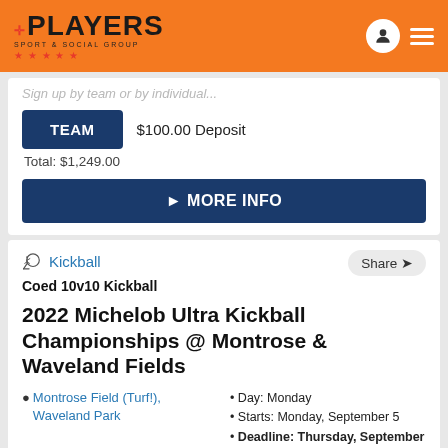Players Sport & Social Group — navigation header
Sign up by team or by individual...
TEAM  $100.00 Deposit
Total: $1,249.00
► MORE INFO
Kickball
Coed 10v10 Kickball
2022 Michelob Ultra Kickball Championships @ Montrose & Waveland Fields
Montrose Field (Turf!), Waveland Park
Day: Monday
Starts: Monday, September 5
Deadline: Thursday, September 1